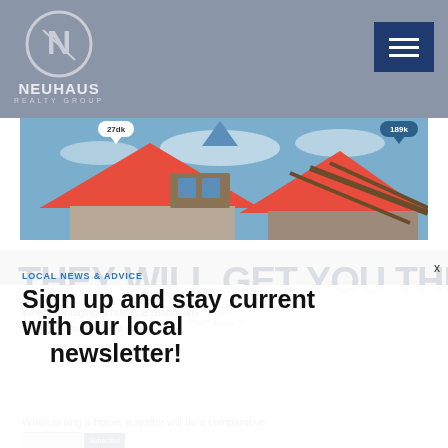[Figure (logo): Neuhaus Realty Group logo: circular N emblem in grey with NEUHAUS REALTY GROUP text below, on grey/blue header background with hamburger menu button top right]
[Figure (photo): Hero banner image showing houses with orange/red tile roofs against blue sky, with location pin markers showing prices 27dk and 189k]
LOCAL NEWS & ADVICE
THEY WILL GET YOU THE BEST PRICE.
Sign up and stay current with our local newsletter!
When managing a home, a realtor will likely get you the best price.
When selling a home, a realtor will do a comparative